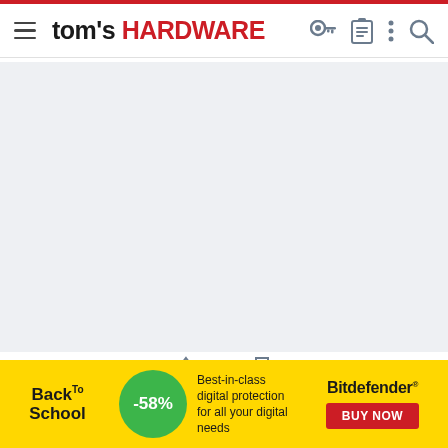tom's HARDWARE
[Figure (other): Large light gray content/ad placeholder area]
0
geofelt
Titan
[Figure (photo): Avatar thumbnail showing satellite weather/hurricane image]
[Figure (other): Bitdefender Back to School advertisement banner: -58% off, Best-in-class digital protection for all your digital needs, BUY NOW button]